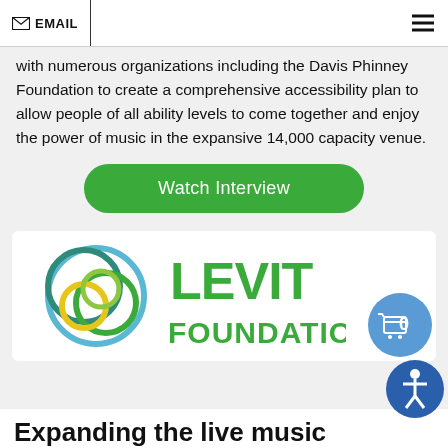EMAIL
with numerous organizations including the Davis Phinney Foundation to create a comprehensive accessibility plan to allow people of all ability levels to come together and enjoy the power of music in the expansive 14,000 capacity venue.
Watch Interview
[Figure (logo): Levit Foundation logo with interlocking circles in teal, blue, green, and yellow on the left, and 'LEVIT FOUNDATION' in large green text on the right]
Expanding the live music